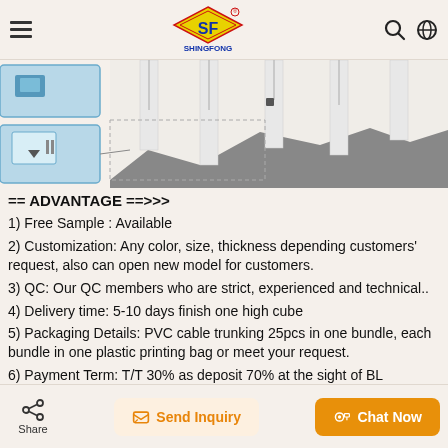SHINGFONG (logo)
[Figure (illustration): Product diagram showing PVC cable trunking installation, with control panel thumbnails on the left and a schematic cross-section of panels/tracks on the right over a grey background.]
== ADVANTAGE ==>>>
1) Free Sample : Available
2) Customization: Any color, size, thickness depending customers' request, also can open new model for customers.
3) QC: Our QC members who are strict, experienced and technical..
4) Delivery time: 5-10 days finish one high cube
5) Packaging Details: PVC cable trunking 25pcs in one bundle, each bundle in one plastic printing bag or meet your request.
6) Payment Term: T/T 30% as deposit 70% at the sight of BL